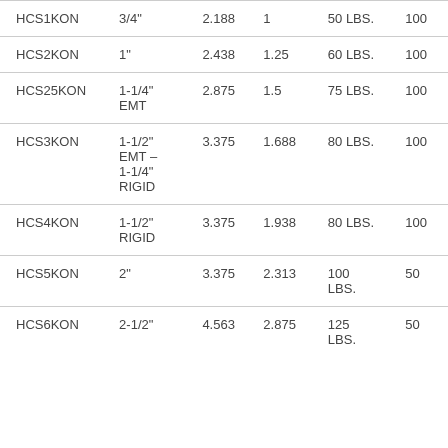| HCS1KON | 3/4" | 2.188 | 1 | 50 LBS. | 100 |
| HCS2KON | 1" | 2.438 | 1.25 | 60 LBS. | 100 |
| HCS25KON | 1-1/4" EMT | 2.875 | 1.5 | 75 LBS. | 100 |
| HCS3KON | 1-1/2" EMT – 1-1/4" RIGID | 3.375 | 1.688 | 80 LBS. | 100 |
| HCS4KON | 1-1/2" RIGID | 3.375 | 1.938 | 80 LBS. | 100 |
| HCS5KON | 2" | 3.375 | 2.313 | 100 LBS. | 50 |
| HCS6KON | 2-1/2" | 4.563 | 2.875 | 125 LBS. | 50 |